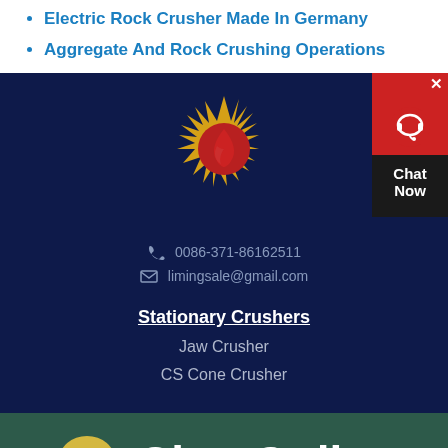Electric Rock Crusher Made In Germany
Aggregate And Rock Crushing Operations
[Figure (logo): Company sun logo with red flame design on dark navy background]
0086-371-86162511
limingsale@gmail.com
Stationary Crushers
Jaw Crusher
CS Cone Crusher
[Figure (infographic): Chat Now widget in top right corner with red background and headset icon]
[Figure (infographic): Chat Online bar at bottom with yellow speech bubble icon and white text]